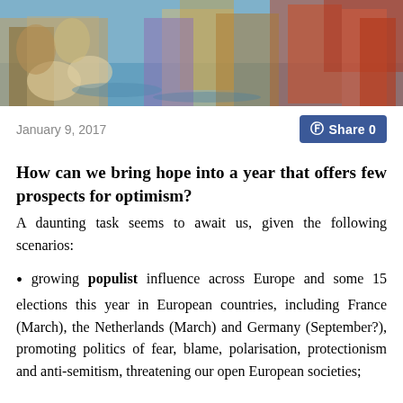[Figure (illustration): Classical painting or mosaic banner image showing multiple figures in a mythological or religious scene with colorful robes and a blue sky/water background.]
January 9, 2017
Share 0
How can we bring hope into a year that offers few prospects for optimism?
A daunting task seems to await us, given the following scenarios:
growing populist influence across Europe and some 15 elections this year in European countries, including France (March), the Netherlands (March) and Germany (September?), promoting politics of fear, blame, polarisation, protectionism and anti-semitism, threatening our open European societies;